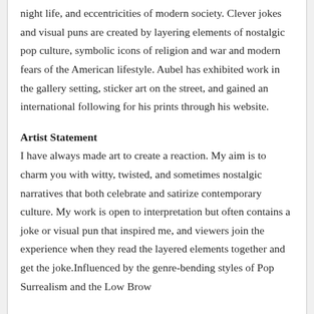night life, and eccentricities of modern society. Clever jokes and visual puns are created by layering elements of nostalgic pop culture, symbolic icons of religion and war and modern fears of the American lifestyle. Aubel has exhibited work in the gallery setting, sticker art on the street, and gained an international following for his prints through his website.
Artist Statement
I have always made art to create a reaction. My aim is to charm you with witty, twisted, and sometimes nostalgic narratives that both celebrate and satirize contemporary culture. My work is open to interpretation but often contains a joke or visual pun that inspired me, and viewers join the experience when they read the layered elements together and get the joke.Influenced by the genre-bending styles of Pop Surrealism and the Low Brow